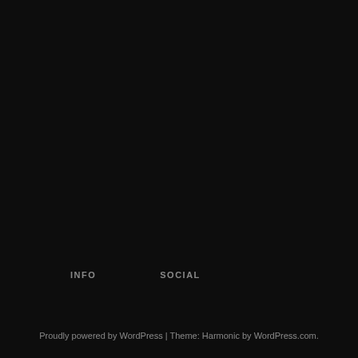INFO   SOCIAL
Proudly powered by WordPress | Theme: Harmonic by WordPress.com.